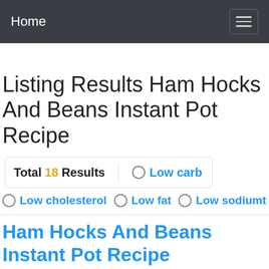Home
Listing Results Ham Hocks And Beans Instant Pot Recipe
Total 18 Results   Low carb   Low cholesterol   Low fat   Low sodiumt
Ham Hocks And Beans Instant Pot Recipe
Ham Hock And Canned Beans Recipe sharerecipes.net. 3 hours